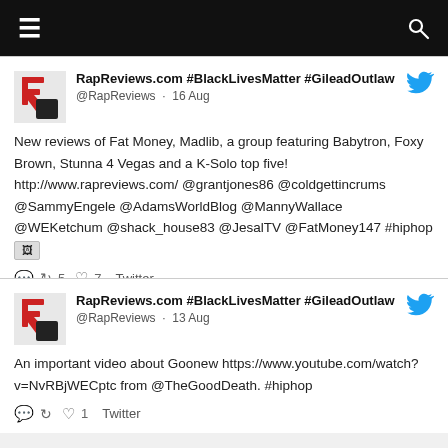≡  🔍
RapReviews.com #BlackLivesMatter #GileadOutlaw
@RapReviews · 16 Aug
New reviews of Fat Money, Madlib, a group featuring Babytron, Foxy Brown, Stunna 4 Vegas and a K-Solo top five! http://www.rapreviews.com/ @grantjones86 @coldgettincrums @SammyEngele @AdamsWorldBlog @MannyWallace @WEKetchum @shack_house83 @JesalTV @FatMoney147 #hiphop [image]
🗨 ↺5 ♡7 Twitter
RapReviews.com #BlackLivesMatter #GileadOutlaw
@RapReviews · 13 Aug
An important video about Goonew https://www.youtube.com/watch?v=NvRBjWECptc from @TheGoodDeath. #hiphop
🗨 ↺ ♡1 Twitter